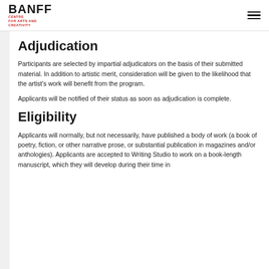BANFF CENTRE FOR ARTS AND CREATIVITY
Adjudication
Participants are selected by impartial adjudicators on the basis of their submitted material. In addition to artistic merit, consideration will be given to the likelihood that the artist's work will benefit from the program.
Applicants will be notified of their status as soon as adjudication is complete.
Eligibility
Applicants will normally, but not necessarily, have published a body of work (a book of poetry, fiction, or other narrative prose, or substantial publication in magazines and/or anthologies). Applicants are accepted to Writing Studio to work on a book-length manuscript, which they will develop during their time in